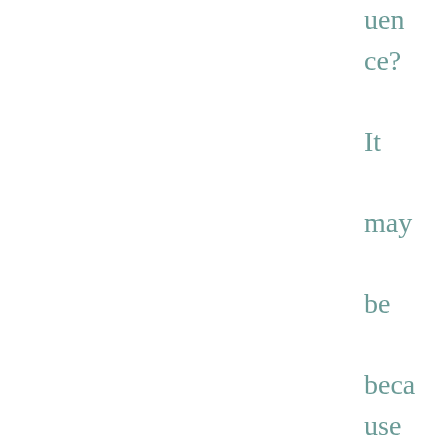uence? It may be because of cognitive dissonance. This psycholo